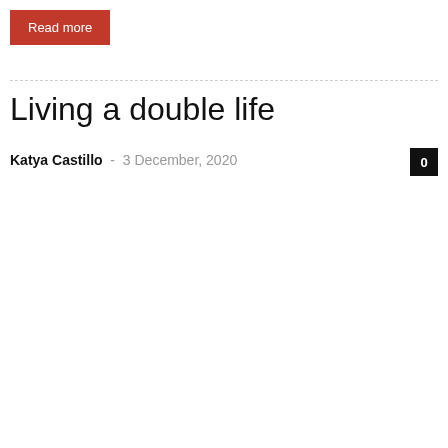Read more
Living a double life
Katya Castillo - 3 December, 2020
0